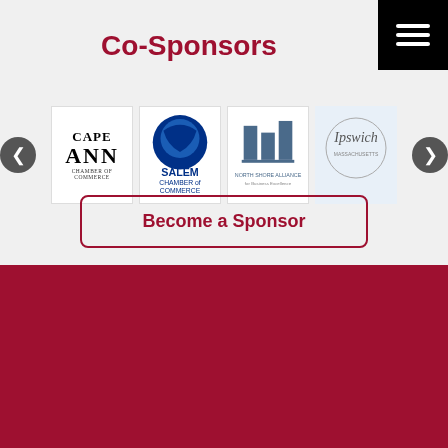Co-Sponsors
[Figure (logo): Cape Ann Chamber of Commerce logo]
[Figure (logo): Salem Chamber of Commerce logo]
[Figure (logo): North Shore Alliance logo]
[Figure (logo): Ipswich logo]
Become a Sponsor
[Figure (logo): Enterprise Center at Salem State University logo with decorative knot icon]